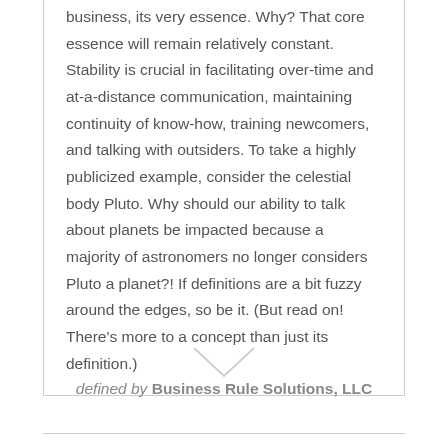business, its very essence. Why? That core essence will remain relatively constant. Stability is crucial in facilitating over-time and at-a-distance communication, maintaining continuity of know-how, training newcomers, and talking with outsiders. To take a highly publicized example, consider the celestial body Pluto. Why should our ability to talk about planets be impacted because a majority of astronomers no longer considers Pluto a planet?! If definitions are a bit fuzzy around the edges, so be it. (But read on! There's more to a concept than just its definition.)
defined by Business Rule Solutions, LLC